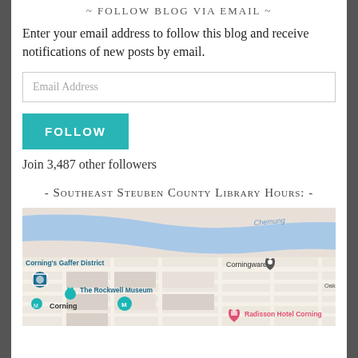~ Follow Blog via Email ~
Enter your email address to follow this blog and receive notifications of new posts by email.
Email Address
FOLLOW
Join 3,487 other followers
- Southeast Steuben County Library Hours: -
[Figure (map): Google Maps showing Corning area with landmarks: Corning's Gaffer District, The Rockwell Museum, Corningware, Radisson Hotel Corning, Chemung river labeled, streets including Beach St, Oak St, Conhocton St visible.]